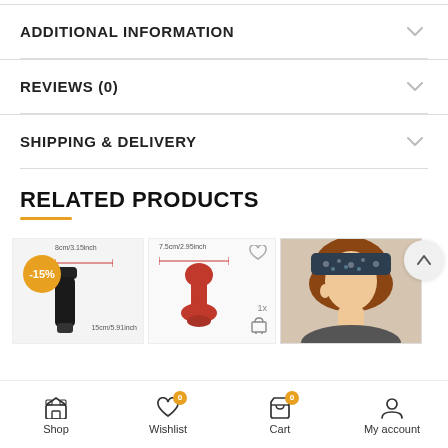ADDITIONAL INFORMATION
REVIEWS (0)
SHIPPING & DELIVERY
RELATED PRODUCTS
[Figure (photo): Related product thumbnails row: black item with -15% badge and measurement labels, red sculptural item with heart wishlist icon and cart icon, person wearing dark patterned headband]
Shop | Wishlist 0 | Cart 0 | My account